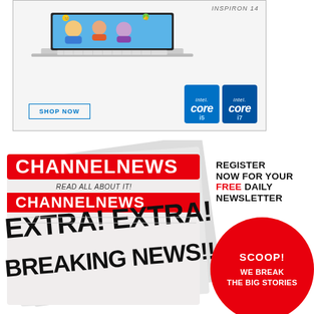[Figure (illustration): Dell Inspiron 14 laptop advertisement with people on screen, Intel Core i5 and i7 badges, and a SHOP NOW button]
[Figure (illustration): ChannelNews newspaper advertisement showing folded newspaper with EXTRA! EXTRA! BREAKING NEWS! headline, with register for free daily newsletter text and red SCOOP circle]